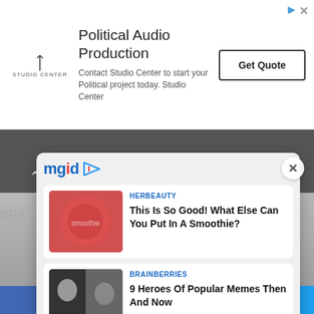[Figure (screenshot): Advertisement banner for Studio Center Political Audio Production with Get Quote button]
[Figure (screenshot): MGID content recommendation widget showing two article cards: HerBeauty smoothie article and BrainBerries memes article, with close X button]
You Can Control Things From A Distance!
BRA
HERBEAUTY
This Is So Good! What Else Can You Put In A Smoothie?
BRAINBERRIES
9 Heroes Of Popular Memes Then And Now